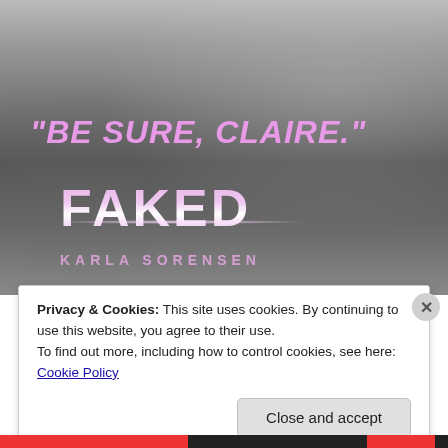[Figure (photo): Black and white photo of a person with jewelry/beads and rings, with text overlay. Text reads: "BE SURE, CLAIRE." FAKED — KARLA SORENSEN (book cover image)]
Privacy & Cookies: This site uses cookies. By continuing to use this website, you agree to their use. To find out more, including how to control cookies, see here: Cookie Policy
Close and accept